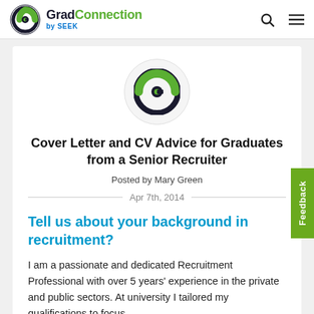GradConnection by SEEK
[Figure (logo): GradConnection circular logo in a light grey circle]
Cover Letter and CV Advice for Graduates from a Senior Recruiter
Posted by Mary Green
Apr 7th, 2014
Tell us about your background in recruitment?
I am a passionate and dedicated Recruitment Professional with over 5 years' experience in the private and public sectors. At university I tailored my qualifications to focus